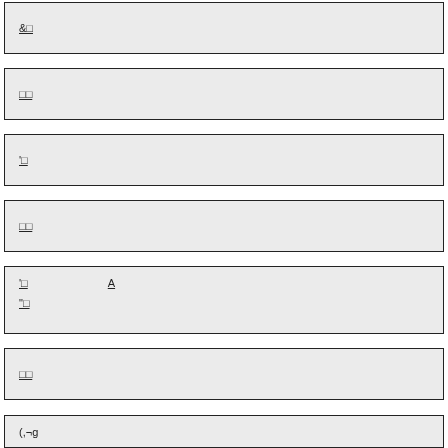&□
□□
'□
□□
'□   A
"□
□□
□□
(,¬g